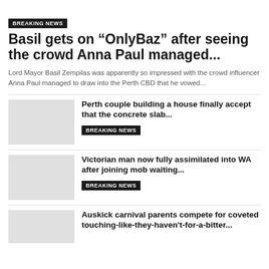BREAKING NEWS
Basil gets on “OnlyBaz” after seeing the crowd Anna Paul managed...
Lord Mayor Basil Zempilas was apparently so impressed with the crowd influencer Anna Paul managed to draw into the Perth CBD that he vowed...
BREAKING NEWS
Perth couple building a house finally accept that the concrete slab...
BREAKING NEWS
Victorian man now fully assimilated into WA after joining mob waiting...
BREAKING NEWS
Auskick carnival parents compete for coveted touching-like-they-haven-t-for-a-bitter...